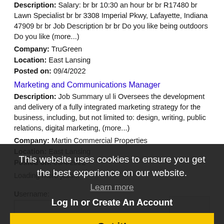Description: Salary: br br 10:30 an hour br br R17480 br Lawn Specialist br br 3308 Imperial Pkwy, Lafayette, Indiana 47909 br br Job Description br br Do you like being outdoors Do you like (more...)
Company: TruGreen
Location: East Lansing
Posted on: 09/4/2022
Marketing and Communications Manager
Description: Job Summary ul li Oversees the development and delivery of a fully integrated marketing strategy for the business, including, but not limited to: design, writing, public relations, digital marketing, (more...)
Company: Martin Commercial Properties
Location: East Lansing
Posted on: 09/4/2022
Loading more jobs...
This website uses cookies to ensure you get the best experience on our website. Learn more Log In or Create An Account Got it!
Username: